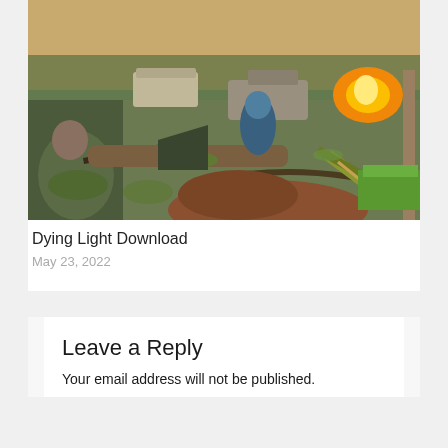[Figure (screenshot): Video game screenshot from Dying Light showing a first-person perspective with a crossbow, a sniper character on the left, and enemies in a post-apocalyptic outdoor environment with an explosion in the background.]
Dying Light Download
May 23, 2022
Leave a Reply
Your email address will not be published.